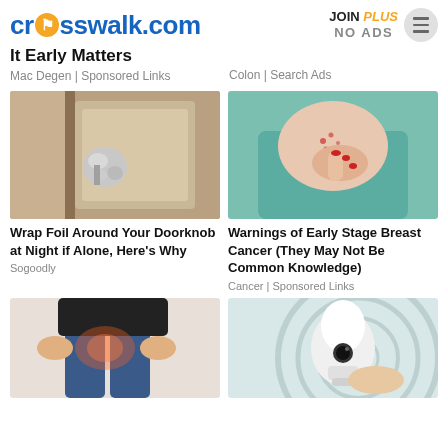crosswalk.com | JOIN PLUS NO ADS
It Early Matters
Mac Degen | Sponsored Links
Colon | Search Ads
[Figure (photo): Door knob wrapped in aluminum foil]
Wrap Foil Around Your Doorknob at Night if Alone, Here's Why
Sogoodly
[Figure (photo): Woman scratching chest area showing skin rash]
Warnings of Early Stage Breast Cancer (They May Not Be Common Knowledge)
Cancer | Sponsored Links
[Figure (photo): Person holding hip area with pain illustration]
[Figure (photo): White light bulb device being held]